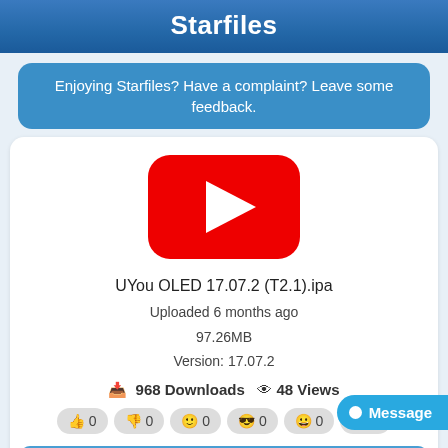Starfiles
Enjoying Starfiles? Have a complaint? Leave some feedback.
[Figure (logo): YouTube-style red play button logo icon]
UYou OLED 17.07.2 (T2.1).ipa
Uploaded 6 months ago
97.26MB
Version: 17.07.2
968 Downloads  48 Views
0  0  0  0  0  0
Download
Install
Message